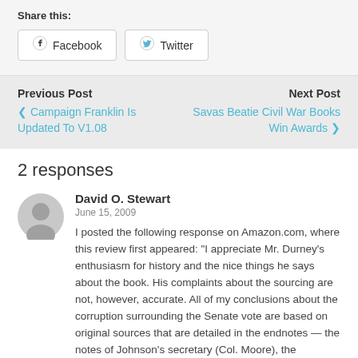Share this:
Facebook  Twitter
Previous Post
❮ Campaign Franklin Is Updated To V1.08
Next Post
Savas Beatie Civil War Books Win Awards ❯
2 responses
David O. Stewart
June 15, 2009
I posted the following response on Amazon.com, where this review first appeared: "I appreciate Mr. Durney's enthusiasm for history and the nice things he says about the book. His complaints about the sourcing are not, however, accurate. All of my conclusions about the corruption surrounding the Senate vote are based on original sources that are detailed in the endnotes — the notes of Johnson's secretary (Col. Moore), the